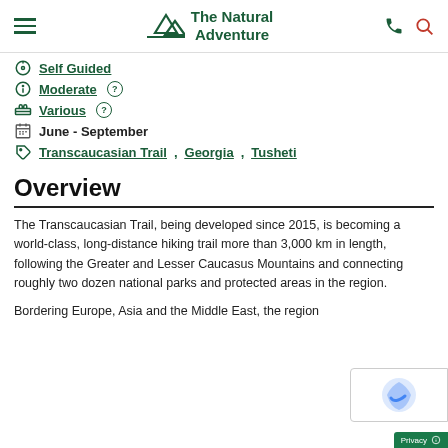The Natural Adventure
Self Guided
Moderate
Various
June - September
Transcaucasian Trail, Georgia, Tusheti
Overview
The Transcaucasian Trail, being developed since 2015, is becoming a world-class, long-distance hiking trail more than 3,000 km in length, following the Greater and Lesser Caucasus Mountains and connecting roughly two dozen national parks and protected areas in the region.
Bordering Europe, Asia and the Middle East, the region